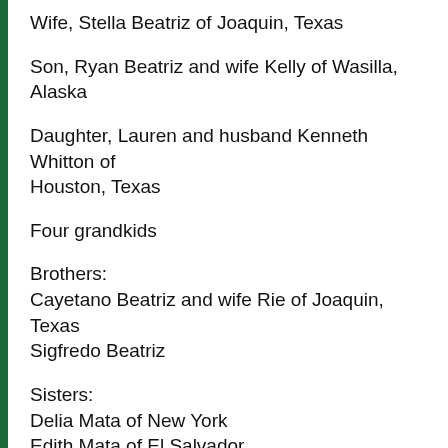Wife, Stella Beatriz of Joaquin, Texas
Son, Ryan Beatriz and wife Kelly of Wasilla, Alaska
Daughter, Lauren and husband Kenneth Whitton of Houston, Texas
Four grandkids
Brothers:
Cayetano Beatriz and wife Rie of Joaquin, Texas
Sigfredo Beatriz
Sisters:
Delia Mata of New York
Edith Mata of El Salvador
Preceded in death by his parents, Julia Dolores Beatriz and Cayatano Flores; sons, Billy Beatriz and Christian